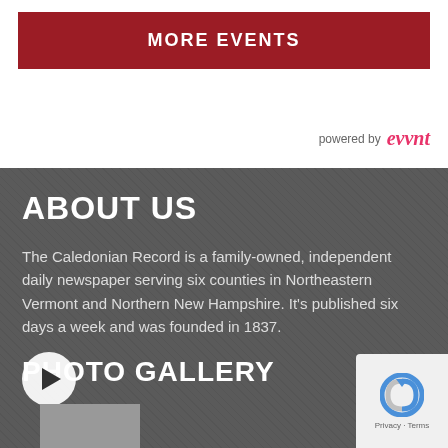MORE EVENTS
[Figure (logo): powered by evvnt logo]
ABOUT US
The Caledonian Record is a family-owned, independent daily newspaper serving six counties in Northeastern Vermont and Northern New Hampshire. It's published six days a week and was founded in 1837.
PHOTO GALLERY
[Figure (photo): Play button overlay on photo gallery thumbnail]
[Figure (other): reCAPTCHA badge with Privacy - Terms text]